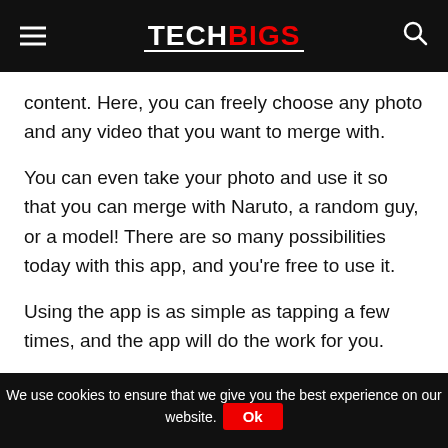TECHBIGS
content. Here, you can freely choose any photo and any video that you want to merge with.
You can even take your photo and use it so that you can merge with Naruto, a random guy, or a model! There are so many possibilities today with this app, and you're free to use it.
Using the app is as simple as tapping a few times, and the app will do the work for you.
Capabilities of Face Play
We use cookies to ensure that we give you the best experience on our website. Ok